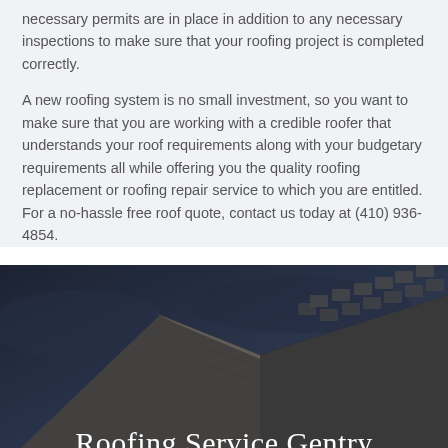necessary permits are in place in addition to any necessary inspections to make sure that your roofing project is completed correctly.
A new roofing system is no small investment, so you want to make sure that you are working with a credible roofer that understands your roof requirements along with your budgetary requirements all while offering you the quality roofing replacement or roofing repair service to which you are entitled. For a no-hassle free roof quote, contact us today at (410) 936-4854.
[Figure (photo): Dark photo of a rooftop with shingles and roof edge against a stormy blue-grey sky]
Roofing Service Gentry